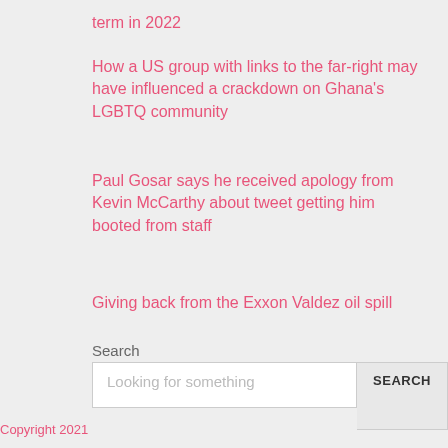term in 2022
How a US group with links to the far-right may have influenced a crackdown on Ghana's LGBTQ community
Paul Gosar says he received apology from Kevin McCarthy about tweet getting him booted from staff
Giving back from the Exxon Valdez oil spill
Search
Looking for something
Copyright 2021